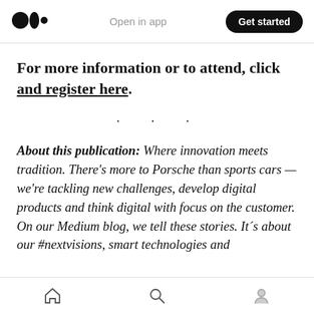Open in app | Get started
For more information or to attend, click and register here.
· · ·
About this publication: Where innovation meets tradition. There's more to Porsche than sports cars — we're tackling new challenges, develop digital products and think digital with focus on the customer. On our Medium blog, we tell these stories. It´s about our #nextvisions, smart technologies and
Home | Search | Profile